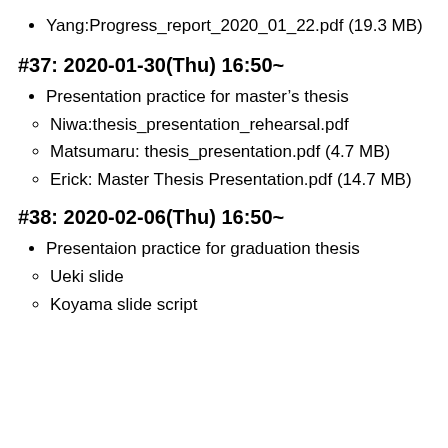Yang:Progress_report_2020_01_22.pdf (19.3 MB)
#37: 2020-01-30(Thu) 16:50~
Presentation practice for master's thesis
Niwa:thesis_presentation_rehearsal.pdf
Matsumaru: thesis_presentation.pdf (4.7 MB)
Erick: Master Thesis Presentation.pdf (14.7 MB)
#38: 2020-02-06(Thu) 16:50~
Presentaion practice for graduation thesis
Ueki slide
Koyama slide script